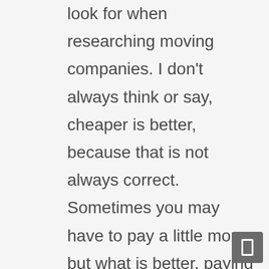look for when researching moving companies. I don't always think or say, cheaper is better, because that is not always correct. Sometimes you may have to pay a little more, but what is better, paying a little more and knowing the quality of service is excellent, or paying less, and getting what you paid for, the way the saying goes. I want to know